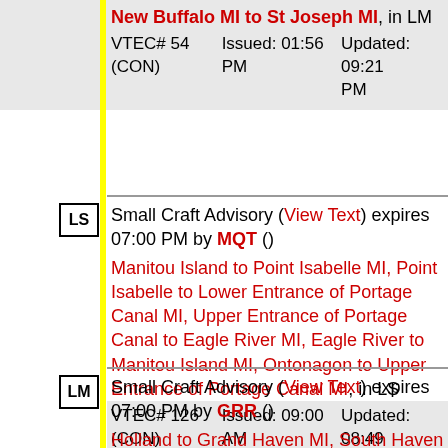New Buffalo MI to St Joseph MI, in LM
VTEC# 54 (CON)   Issued: 01:56 PM   Updated: 09:21 PM
Small Craft Advisory (View Text) expires 07:00 PM by MQT ()
Manitou Island to Point Isabelle MI, Point Isabelle to Lower Entrance of Portage Canal MI, Upper Entrance of Portage Canal to Eagle River MI, Eagle River to Manitou Island MI, Ontonagon to Upper Entrance of Portage Canal MI, in LS
VTEC# 126 (CON)   Issued: 09:00 AM   Updated: 08:49 PM
Small Craft Advisory (View Text) expires 07:00 PM by GRR ()
Holland to Grand Haven MI, South Haven to Holland MI, Grand Haven to Whitehall MI, Whitehall